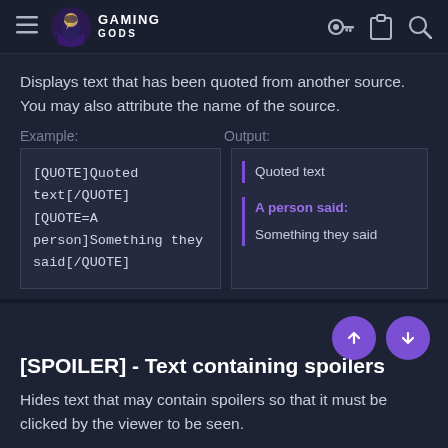Gaming Gods - navigation header with hamburger, logo, key icon, clipboard icon, search icon
Displays text that has been quoted from another source. You may also attribute the name of the source.
Example:
Output:
[QUOTE]Quoted text[/QUOTE]
[QUOTE=A person]Something they said[/QUOTE]
Quoted text
A person said:
Something they said
[SPOILER] - Text containing spoilers
Hides text that may contain spoilers so that it must be clicked by the viewer to be seen.
Example:
Output: